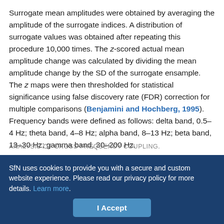Surrogate mean amplitudes were obtained by averaging the amplitude of the surrogate indices. A distribution of surrogate values was obtained after repeating this procedure 10,000 times. The z-scored actual mean amplitude change was calculated by dividing the mean amplitude change by the SD of the surrogate ensample. The z maps were then thresholded for statistical significance using false discovery rate (FDR) correction for multiple comparisons (Benjamini and Hochberg, 1995). Frequency bands were defined as follows: delta band, 0.5–4 Hz; theta band, 4–8 Hz; alpha band, 8–13 Hz; beta band, 13–30 Hz; gamma band, 30–200 Hz.
ANALYSIS OF CROSS-FREQUENCY COUPLING.
Phase-amplitude coupling was examined using the modulation index
SfN uses cookies to provide you with a secure and custom website experience. Please read our privacy policy for more details. Learn more.